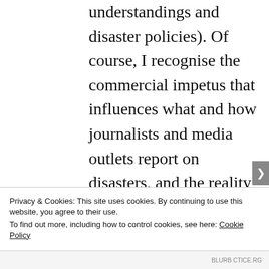understandings and disaster policies). Of course, I recognise the commercial impetus that influences what and how journalists and media outlets report on disasters, and the reality of providing content that will satisfy readers (paying customers). I would
Privacy & Cookies: This site uses cookies. By continuing to use this website, you agree to their use.
To find out more, including how to control cookies, see here: Cookie Policy
BLURB CTICE.RG